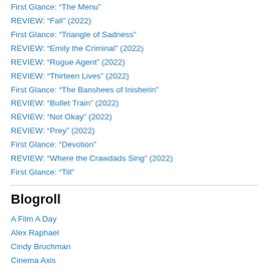First Glance: “The Menu”
REVIEW: “Fall” (2022)
First Glance: “Triangle of Sadness”
REVIEW: “Emily the Criminal” (2022)
REVIEW: “Rogue Agent” (2022)
REVIEW: “Thirteen Lives” (2022)
First Glance: “The Banshees of Inisherin”
REVIEW: “Bullet Train” (2022)
REVIEW: “Not Okay” (2022)
REVIEW: “Prey” (2022)
First Glance: “Devotion”
REVIEW: “Where the Crawdads Sing” (2022)
First Glance: “Till”
Blogroll
A Film A Day
Alex Raphael
Cindy Bruchman
Cinema Axis